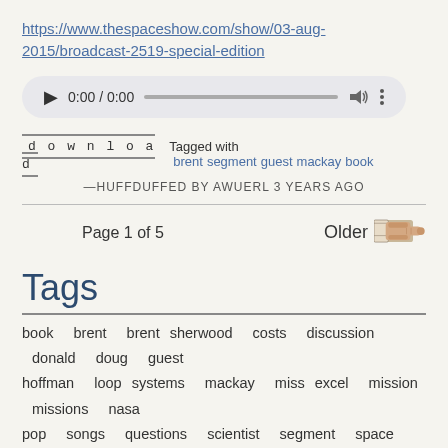https://www.thespaceshow.com/show/03-aug-2015/broadcast-2519-special-edition
[Figure (other): Audio player widget showing 0:00 / 0:00 with play button, progress bar, volume icon, and more options dots]
download
Tagged with brent segment guest mackay book
—Huffduffed by awuerl 3 years ago
Page 1 of 5
Older
Tags
book brent brent sherwood costs discussion donald doug guest hoffman loop systems mackay miss excel mission missions nasa pop songs questions scientist segment space architect space